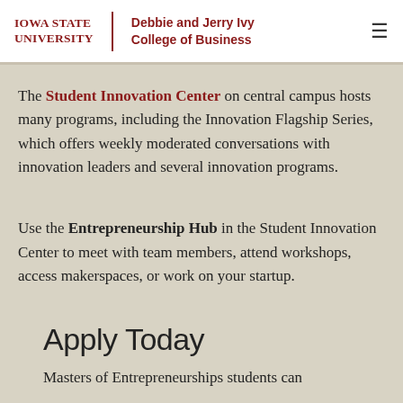Iowa State University | Debbie and Jerry Ivy College of Business
The Student Innovation Center on central campus hosts many programs, including the Innovation Flagship Series, which offers weekly moderated conversations with innovation leaders and several innovation programs.
Use the Entrepreneurship Hub in the Student Innovation Center to meet with team members, attend workshops, access makerspaces, or work on your startup.
Apply Today
Masters of Entrepreneurships students can